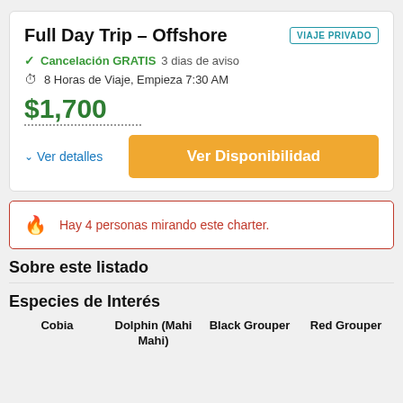Full Day Trip – Offshore
VIAJE PRIVADO
Cancelación GRATIS 3 dias de aviso
8 Horas de Viaje, Empieza 7:30 AM
$1,700
Ver detalles
Ver Disponibilidad
Hay 4 personas mirando este charter.
Sobre este listado
Especies de Interés
Cobia   Dolphin (Mahi Mahi)   Black Grouper   Red Grouper